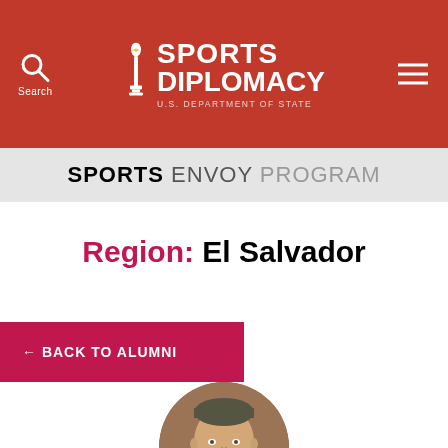Sports Diplomacy — U.S. Department of State — Search
SPORTS ENVOY PROGRAM
Region: El Salvador
← BACK TO ALUMNI
[Figure (photo): Circular portrait photo of a man with short dark hair wearing a suit, smiling slightly]